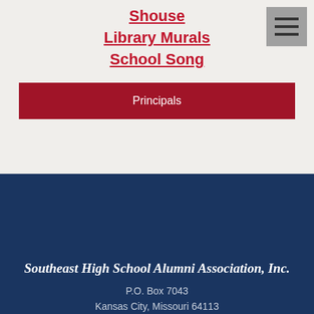Shouse
Library Murals
School Song
Principals
Southeast High School Alumni Association, Inc.
P.O. Box 7043
Kansas City, Missouri 64113